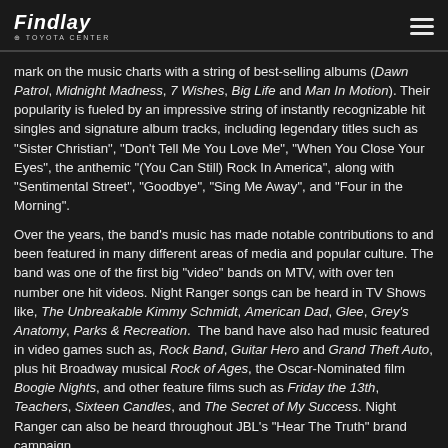Findlay Toyota Center
mark on the music charts with a string of best-selling albums (Dawn Patrol, Midnight Madness, 7 Wishes, Big Life and Man In Motion). Their popularity is fueled by an impressive string of instantly recognizable hit singles and signature album tracks, including legendary titles such as "Sister Christian", "Don't Tell Me You Love Me", "When You Close Your Eyes", the anthemic "(You Can Still) Rock In America", along with "Sentimental Street", "Goodbye", "Sing Me Away", and "Four in the Morning".
Over the years, the band's music has made notable contributions to and been featured in many different areas of media and popular culture. The band was one of the first big "video" bands on MTV, with over ten number one hit videos. Night Ranger songs can be heard in TV Shows like, The Unbreakable Kimmy Schmidt, American Dad, Glee, Grey's Anatomy, Parks & Recreation. The band have also had music featured in video games such as, Rock Band, Guitar Hero and Grand Theft Auto, plus hit Broadway musical Rock of Ages, the Oscar-Nominated film Boogie Nights, and other feature films such as Friday the 13th, Teachers, Sixteen Candles, and The Secret of My Success. Night Ranger can also be heard throughout JBL's "Hear The Truth" brand campaign.